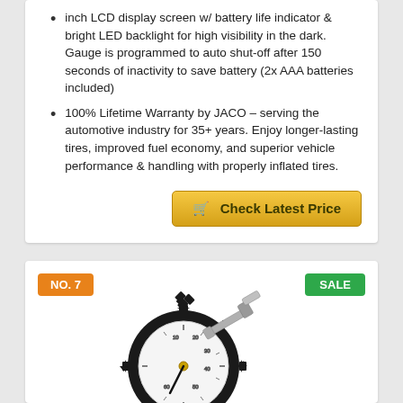inch LCD display screen w/ battery life indicator & bright LED backlight for high visibility in the dark. Gauge is programmed to auto shut-off after 150 seconds of inactivity to save battery (2x AAA batteries included)
100% Lifetime Warranty by JACO – serving the automotive industry for 35+ years. Enjoy longer-lasting tires, improved fuel economy, and superior vehicle performance & handling with properly inflated tires.
Check Latest Price
NO. 7
SALE
[Figure (photo): Analog tire pressure gauge with circular dial face showing PSI markings, black gear-toothed bezel, and metal chuck attachment arm]